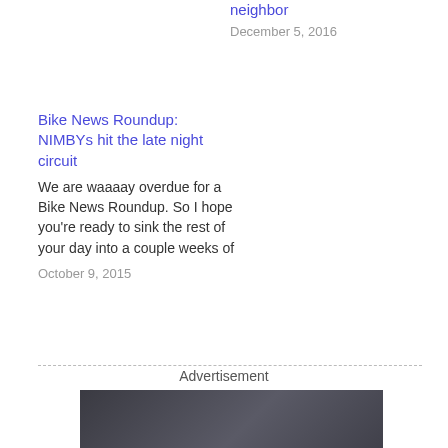neighbor
December 5, 2016
Bike News Roundup: NIMBYs hit the late night circuit
We are waaaay overdue for a Bike News Roundup. So I hope you're ready to sink the rest of your day into a couple weeks of
October 9, 2015
Advertisement
[Figure (photo): Advertisement image showing a coworking space with people, dark background with bold white text: OUR MEMBERS CAN WORK FROM ANYWHERE. THEY CHOOSE TO WORK HERE]